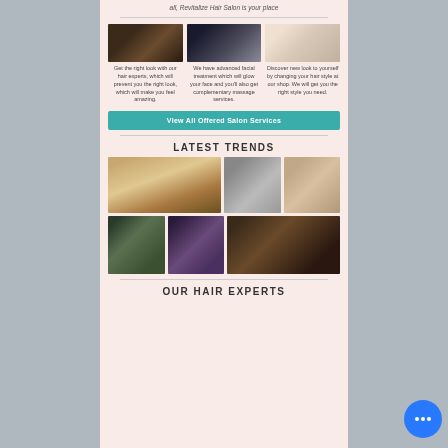all, Revitalize Hair Salon is your place
[Figure (photo): Three salon service photos: hair styling, hair treatment, makeup application]
Get the right look with our hair experts, which will prevent you the right look, which will make you feel amazing.
We have advanced facial treatment which will glow your face and you'll also get complementary massage services.
Discover new look to yourself by changing your hair style at our shop. We will get you the right style you need.
View All Offered Salon Services
LATEST TRENDS
[Figure (photo): Six fashion/hair trend photos in a grid layout showing various hairstyles]
OUR HAIR EXPERTS